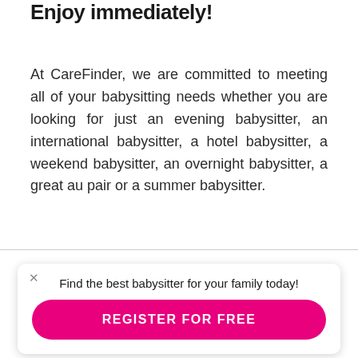Enjoy immediately!
At CareFinder, we are committed to meeting all of your babysitting needs whether you are looking for just an evening babysitter, an international babysitter, a hotel babysitter, a weekend babysitter, an overnight babysitter, a great au pair or a summer babysitter.
Find the best babysitter for your family today!
REGISTER FOR FREE